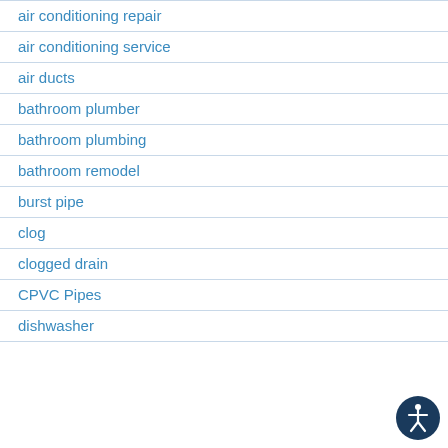air conditioning repair
air conditioning service
air ducts
bathroom plumber
bathroom plumbing
bathroom remodel
burst pipe
clog
clogged drain
CPVC Pipes
dishwasher
[Figure (illustration): Accessibility icon — circular dark blue button with a white human figure in the universal accessibility symbol]